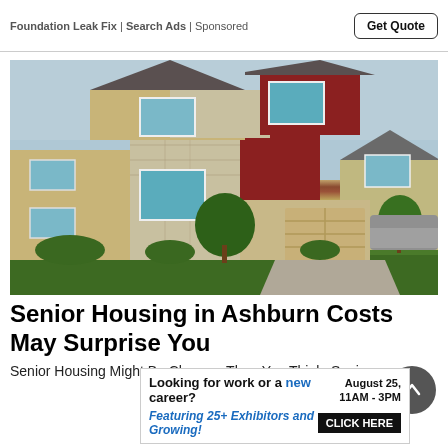Foundation Leak Fix | Search Ads | Sponsored
[Figure (photo): Photograph of a two-story residential home with stone and red siding, teal windows, two-car garage, green trees, and lawn.]
Senior Housing in Ashburn Costs May Surprise You
Senior Housing Might Be Cheaper Than You Think. Senior
Looking for work or a new career?  August 25, 11AM - 3PM  Featuring 25+ Exhibitors and Growing!  CLICK HERE